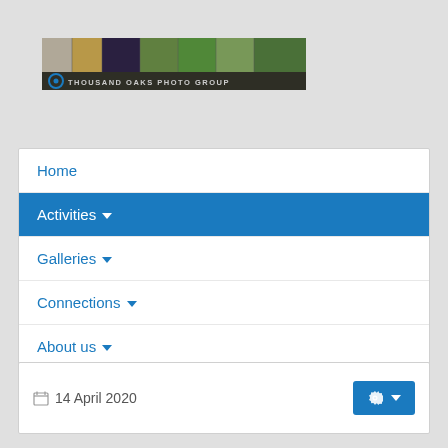[Figure (logo): Thousand Oaks Photo Group banner with collage of nature photos and group logo/name]
Home
Activities ▾
Galleries ▾
Connections ▾
About us ▾
Calendar
14 April 2020